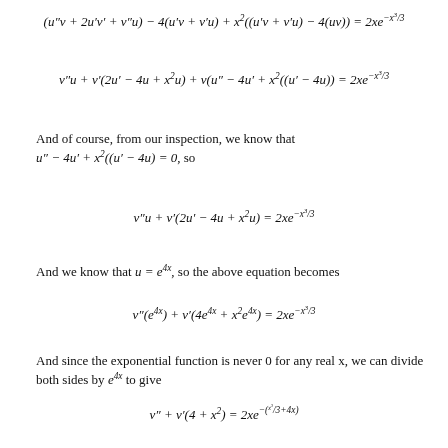And of course, from our inspection, we know that u'' − 4u′ + x²((u′ − 4u) = 0, so
And we know that u = e^{4x}, so the above equation becomes
And since the exponential function is never 0 for any real x, we can divide both sides by e^{4x} to give